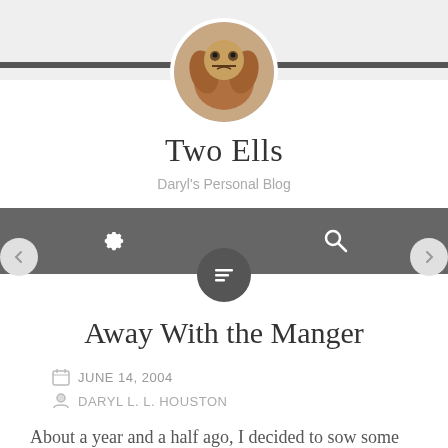[Figure (photo): Circular avatar photo of a dog (Cocker Spaniel type) with reddish-brown fur, looking up, with a cartoon-style face overlay.]
Two Ells
Daryl's Personal Blog
[Figure (screenshot): Dark navigation bar with gear icon on the left and search icon on the right. Below it a circular dark button with a menu/lines icon. Left and right navigation arrows on either side.]
Away With the Manger
JUNE 14, 2004
DARYL L. L. HOUSTON
About a year and a half ago, I decided to sow some